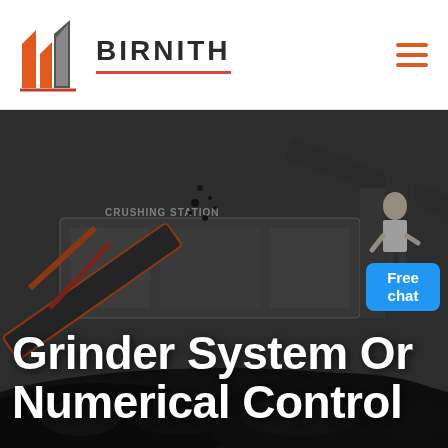BIRNITH
[Figure (photo): Industrial crushing station with heavy machinery, conveyor belts, and piles of crushed rock/coal in a dark outdoor setting. Text 'CRUSHING STATION' visible on machinery.]
Grinder System Or Numerical Control